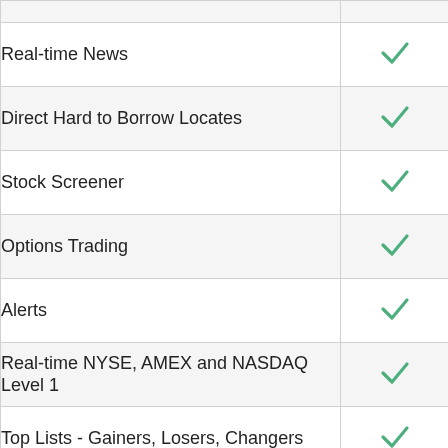| Feature | Included |
| --- | --- |
| Real-time News | ✓ |
| Direct Hard to Borrow Locates | ✓ |
| Stock Screener | ✓ |
| Options Trading | ✓ |
| Alerts | ✓ |
| Real-time NYSE, AMEX and NASDAQ Level 1 | ✓ |
| Top Lists - Gainers, Losers, Changers | ✓ |